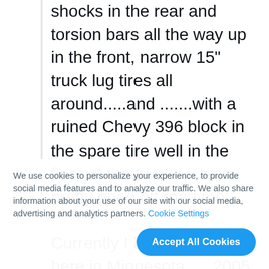shocks in the rear and torsion bars all the way up in the front, narrow 15" truck lug tires all around.....and .......with a ruined Chevy 396 block in the spare tire well in the floor of the trunk......was pretty good off road too!

Currently I have 2 beaters here in Minnesota......2005 Tahoe with Blizzaks all around and over 275,000 miles on it....maintained these go for ever.  The
We use cookies to personalize your experience, to provide social media features and to analyze our traffic. We also share information about your use of our site with our social media, advertising and analytics partners. Cookie Settings
Accept All Cookies